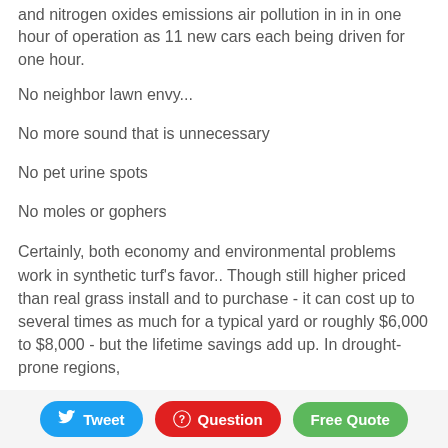and nitrogen oxides emissions air pollution in in in one hour of operation as 11 new cars each being driven for one hour.
No neighbor lawn envy...
No more sound that is unnecessary
No pet urine spots
No moles or gophers
Certainly, both economy and environmental problems work in synthetic turf's favor.. Though still higher priced than real grass install and to purchase - it can cost up to several times as much for a typical yard or roughly $6,000 to $8,000 - but the lifetime savings add up. In drought-prone regions,